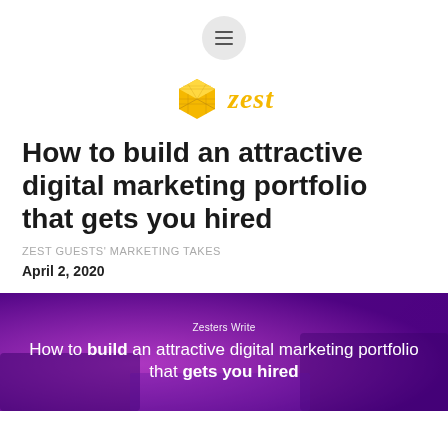≡ (hamburger menu button)
[Figure (logo): Zest logo: yellow 3D cube with grid lines and the word 'zest' in yellow italic script beside it]
How to build an attractive digital marketing portfolio that gets you hired
ZEST GUESTS' MARKETING TAKES
April 2, 2020
[Figure (illustration): Hero banner image with purple/violet gradient background showing the text 'Zesters Write' at the top and 'How to build an attractive digital marketing portfolio that gets you hired' below, with bold emphasis on 'build' and 'gets you hired']